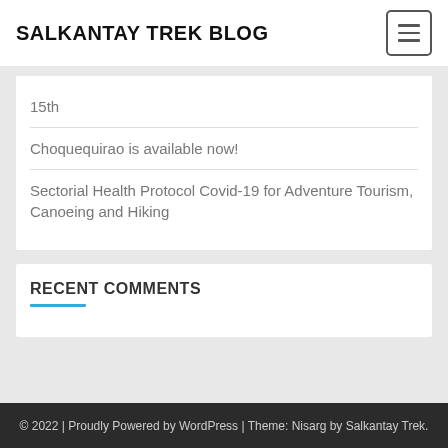SALKANTAY TREK BLOG
15th
Choquequirao is available now!
Sectorial Health Protocol Covid-19 for Adventure Tourism, Canoeing and Hiking
RECENT COMMENTS
© 2022 | Proudly Powered by WordPress | Theme: Nisarg by Salkantay Trek.